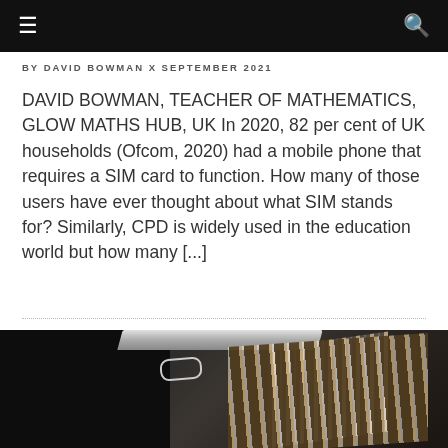≡  🔍
BY DAVID BOWMAN X SEPTEMBER 2021
DAVID BOWMAN, TEACHER OF MATHEMATICS, GLOW MATHS HUB, UK In 2020, 82 per cent of UK households (Ofcom, 2020) had a mobile phone that requires a SIM card to function. How many of those users have ever thought about what SIM stands for? Similarly, CPD is widely used in the education world but how many [...]
[Figure (photo): Close-up photograph of a mobile phone edge showing the SIM card slot and striped metallic body detail]